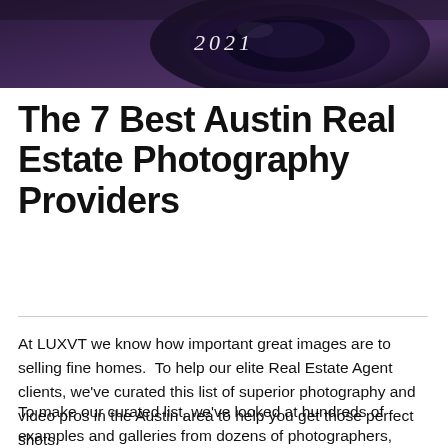[Figure (photo): Dark close-up photo of a camera lens with the year '2021' displayed in white serif italic text centered on the image]
The 7 Best Austin Real Estate Photography Providers
At LUXVT we know how important great images are to selling fine homes.  To help our elite Real Estate Agent clients, we've curated this list of superior photography and video pros in the Austin area to help you get those perfect shots.
To make our curated list, we've looked at hundreds of examples and galleries from dozens of photographers, videographers, and imaging companies.   These